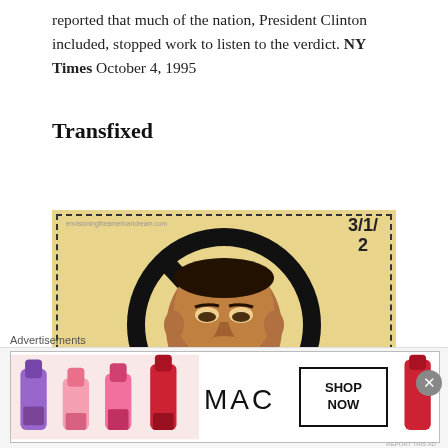reported that much of the nation, President Clinton included, stopped work to listen to the verdict. NY Times October 4, 1995
Transfixed
[Figure (illustration): A cartoon illustration on aged yellowed paper with dashed ticket-style border. Shows a Black man's face inside a large 'no' symbol (circle with diagonal slash). Watermark reads 'envisioningtheamericandream.com'. Number stamp '3/1/2' in upper right.]
Advertisements
[Figure (photo): MAC Cosmetics advertisement showing colorful lipsticks (purple, pink, red) with MAC logo and 'SHOP NOW' button.]